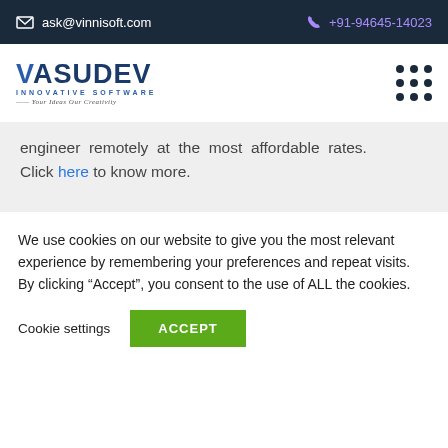ask@vinnisoft.com   +91-94645-14023
[Figure (logo): Vasudev Innovative Software logo with tagline 'Your Ideas Our Creativity']
engineer remotely at the most affordable rates. Click here to know more.
We use cookies on our website to give you the most relevant experience by remembering your preferences and repeat visits. By clicking “Accept”, you consent to the use of ALL the cookies.
Cookie settings   ACCEPT